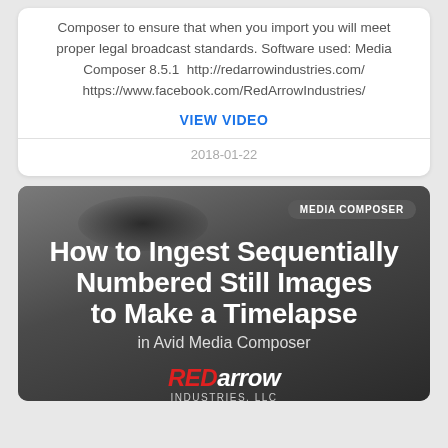Composer to ensure that when you import you will meet proper legal broadcast standards. Software used: Media Composer 8.5.1  http://redarrowindustries.com/ https://www.facebook.com/RedArrowIndustries/
VIEW VIDEO
2018-01-22
[Figure (screenshot): Thumbnail image for a video titled 'How to Ingest Sequentially Numbered Still Images to Make a Timelapse in Avid Media Composer' by Red Arrow Industries, LLC. Dark gray background with MEDIA COMPOSER badge in upper right.]